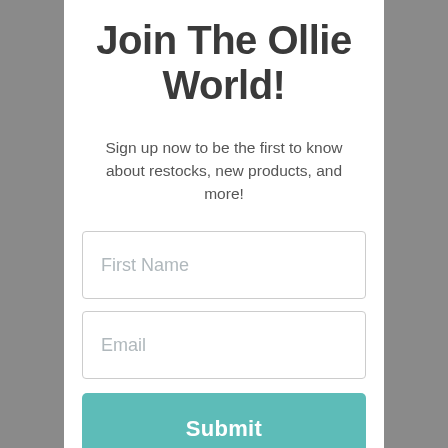Join The Ollie World!
Sign up now to be the first to know about restocks, new products, and more!